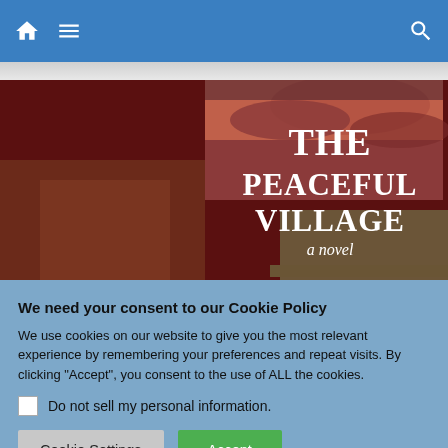Navigation bar with home, menu, and search icons
[Figure (illustration): Book cover for 'The Peaceful Village – a novel' with dark red background and dramatic sky, showing a building facade]
We need your consent to our Cookie Policy
We use cookies on our website to give you the most relevant experience by remembering your preferences and repeat visits. By clicking "Accept", you consent to the use of ALL the cookies.
Do not sell my personal information.
Cookie Settings  Accept